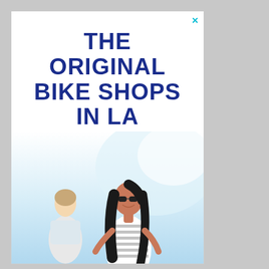THE ORIGINAL BIKE SHOPS IN LA
[Figure (photo): A woman with dark hair wearing sunglasses and a striped tank top riding a bike, smiling, with another person partially visible to the left, against a bright white/light blue outdoor background.]